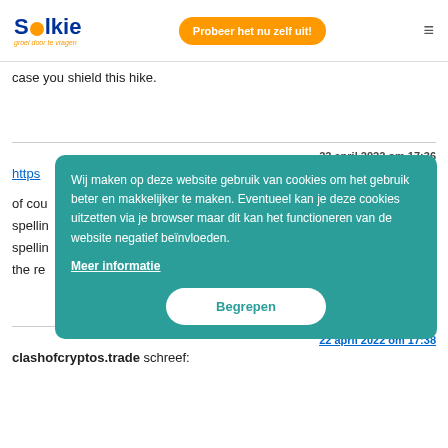Solkie — Probeer het nu zelf uit!
case you shield this hike.
22 april 2022 om 17:36
https…
of cou…
spellin…
spellin…
the re…
Wij maken op deze website gebruik van cookies om het gebruik beter en makkelijker te maken. Eventueel kan je deze cookies uitzetten via je browser maar dit kan het functioneren van de website negatief beïnvloeden.
Meer informatie
Begrepen
22 april 2022 om 17:38
clashofcryptos.trade schreef: